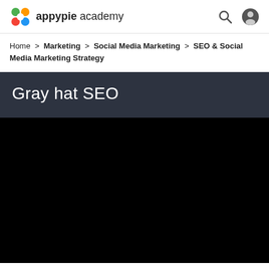appypie academy
Home > Marketing > Social Media Marketing > SEO & Social Media Marketing Strategy
Gray hat SEO
[Figure (other): Black video player area]